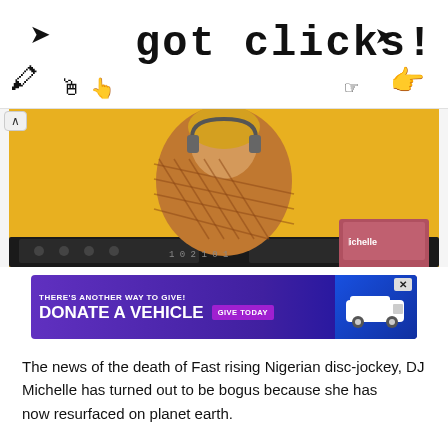got clicks!
[Figure (photo): A female DJ with blonde hair and headphones wearing a mesh top, posing at a DJ mixer against a yellow background. A pink laptop is visible on the right with the text 'Michelle' on it.]
[Figure (infographic): Advertisement banner with purple background. Text reads 'THERE'S ANOTHER WAY TO GIVE! DONATE A VEHICLE GIVE TODAY' with an image of a white SUV on a blue background.]
The news of the death of Fast rising Nigerian disc-jockey, DJ Michelle has turned out to be bogus because she has now resurfaced on planet earth.